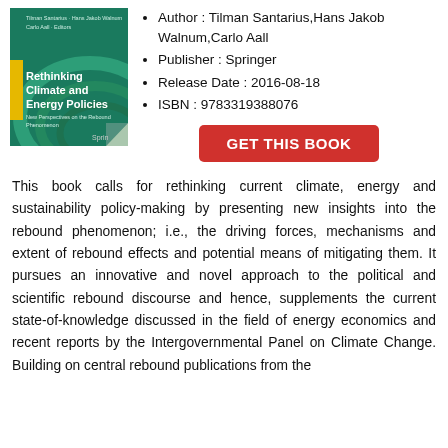[Figure (illustration): Book cover of 'Rethinking Climate and Energy Policies: New Perspectives on the Rebound Phenomenon' by Tilman Santarius, Hans Jakob Walnum, Carlo Aall. Published by Springer. Green cover with wave/spiral design.]
Author : Tilman Santarius,Hans Jakob Walnum,Carlo Aall
Publisher : Springer
Release Date : 2016-08-18
ISBN : 9783319388076
GET THIS BOOK
This book calls for rethinking current climate, energy and sustainability policy-making by presenting new insights into the rebound phenomenon; i.e., the driving forces, mechanisms and extent of rebound effects and potential means of mitigating them. It pursues an innovative and novel approach to the political and scientific rebound discourse and hence, supplements the current state-of-knowledge discussed in the field of energy economics and recent reports by the Intergovernmental Panel on Climate Change. Building on central rebound publications from the